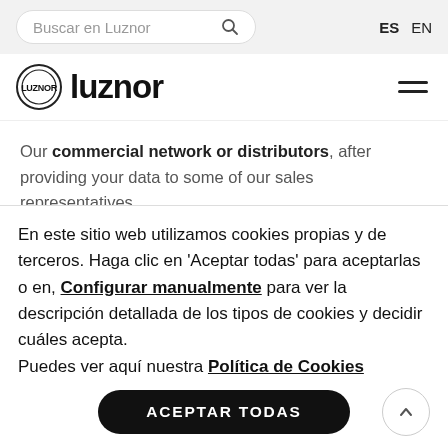Buscar en Luznor | ES  EN
[Figure (logo): Luznor logo with circular badge icon and bold 'luznor' wordmark]
Our commercial network or distributors, after providing your data to some of our sales representatives.
With respect to the data of other people, their prior...
En este sitio web utilizamos cookies propias y de terceros. Haga clic en 'Aceptar todas' para aceptarlas o en, Configurar manualmente para ver la descripción detallada de los tipos de cookies y decidir cuáles acepta.
Puedes ver aquí nuestra Política de Cookies
ACEPTAR TODAS